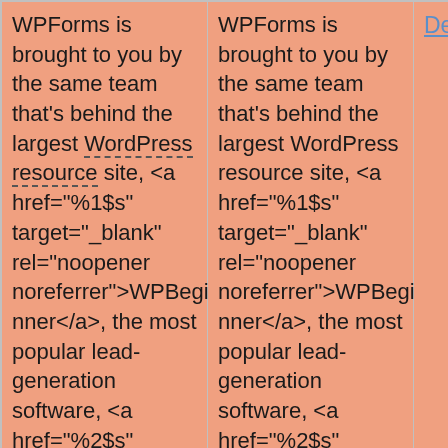| Column 1 | Column 2 | Column 3 |
| --- | --- | --- |
| WPForms is brought to you by the same team that's behind the largest WordPress resource site, <a href="%1$s" target="_blank" rel="noopener noreferrer">WPBeginner</a>, the most popular lead-generation software, <a href="%2$s" target="_blank" rel="noopener noreferrer">OptinMonster</a>, the best WordPress analytics | WPForms is brought to you by the same team that's behind the largest WordPress resource site, <a href="%1$s" target="_blank" rel="noopener noreferrer">WPBeginner</a>, the most popular lead-generation software, <a href="%2$s" target="_blank" rel="noopener noreferrer">OptinMonster</a>, and the best WordPress | Details |